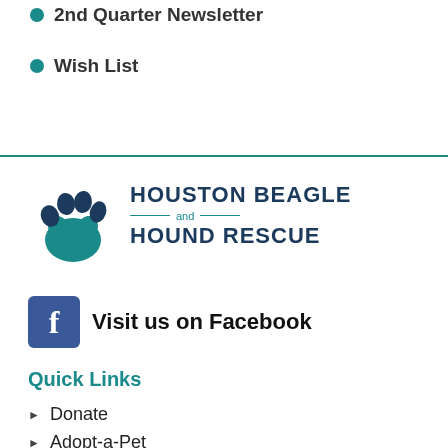2nd Quarter Newsletter
Wish List
[Figure (logo): Houston Beagle and Hound Rescue logo with paw print and heart icon]
Visit us on Facebook
Quick Links
Donate
Adopt-a-Pet